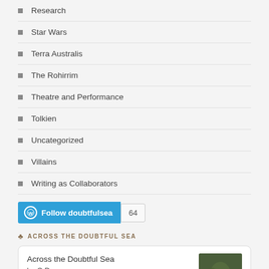Research
Star Wars
Terra Australis
The Rohirrim
Theatre and Performance
Tolkien
Uncategorized
Villains
Writing as Collaborators
[Figure (other): Follow doubtfulsea WordPress follow button with follower count 64]
ACROSS THE DOUBTFUL SEA
[Figure (other): Book card: Across the Doubtful Sea by C.D. with a dark landscape thumbnail image]